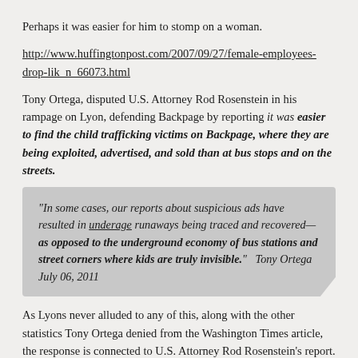Perhaps it was easier for him to stomp on a woman.
http://www.huffingtonpost.com/2007/09/27/female-employees-drop-lik_n_66073.html
Tony Ortega, disputed U.S. Attorney Rod Rosenstein in his rampage on Lyon, defending Backpage by reporting it was easier to find the child trafficking victims on Backpage, where they are being exploited, advertised, and sold than at bus stops and on the streets.
"In some cases, our reports about suspicious ads have resulted in underage runaways being traced and recovered—as opposed to the underground economy of bus stations and street corners where kids are truly invisible."  Tony Ortega  July 06, 2011
As Lyons never alluded to any of this, along with the other statistics Tony Ortega denied from the Washington Times article, the response is connected to U.S. Attorney Rod Rosenstein's report.